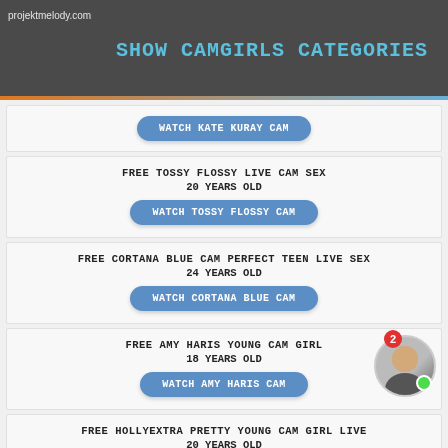projektmelody.com
SHOW CAMGIRLS CATEGORIES
WATCH KATE KURAY CAM
FREE TOSSY FLOSSY LIVE CAM SEX
20 YEARS OLD
WATCH TOSSY FLOSSY CAM
FREE CORTANA BLUE CAM PERFECT TEEN LIVE SEX
24 YEARS OLD
WATCH CORTANA BLUE CAM
FREE AMY HARIS YOUNG CAM GIRL
18 YEARS OLD
WATCH AMY HARIS CAM
FREE HOLLYEXTRA PRETTY YOUNG CAM GIRL LIVE
20 YEARS OLD
WATCH HOLLY EXTRA CAM